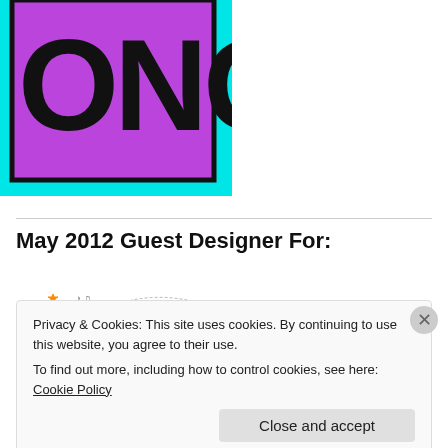[Figure (illustration): Partial logo image with cyan/turquoise border and purple/magenta background, with large bold black text partially visible at top]
May 2012 Guest Designer For:
[Figure (logo): Scrap It With a SONG logo featuring a cassette tape, scissors, music notes, and orange star on white background with pink and green text]
Privacy & Cookies: This site uses cookies. By continuing to use this website, you agree to their use. To find out more, including how to control cookies, see here: Cookie Policy
Close and accept